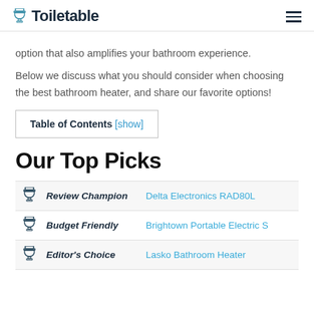Toiletable
option that also amplifies your bathroom experience.
Below we discuss what you should consider when choosing the best bathroom heater, and share our favorite options!
Table of Contents [show]
Our Top Picks
|  | Label | Product |
| --- | --- | --- |
| [icon] | Review Champion | Delta Electronics RAD80L |
| [icon] | Budget Friendly | Brightown Portable Electric S |
| [icon] | Editor's Choice | Lasko Bathroom Heater |